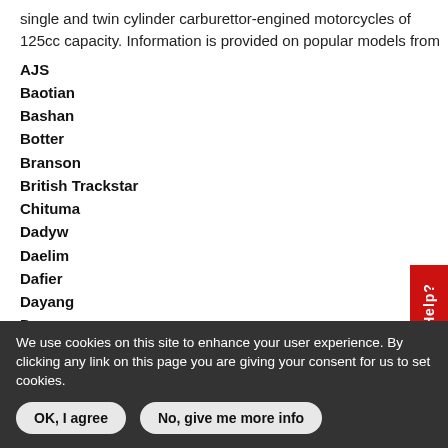single and twin cylinder carburettor-engined motorcycles of 125cc capacity. Information is provided on popular models from
AJS
Baotian
Bashan
Botter
Branson
British Trackstar
Chituma
Dadyw
Daelim
Dafier
Dayang
Dayun
Easy Rider
Feiying
FYM
Geely
Gianter
We use cookies on this site to enhance your user experience. By clicking any link on this page you are giving your consent for us to set cookies.
OK, I agree | No, give me more info